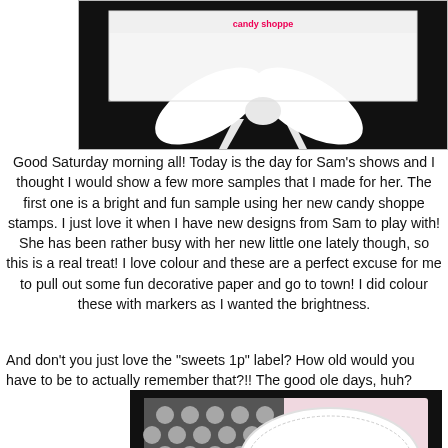[Figure (photo): A craft card with a white ribbon or bow on a dark background, shown at the top of the page.]
Good Saturday morning all!  Today is the day for Sam's shows and I thought I would show a few more samples that I made for her.  The first one is a bright and fun sample using her new candy shoppe stamps.  I just love it when I have new designs from Sam to play with!  She has been rather busy with her new little one lately though, so this is a real treat!  I love colour and these are a perfect excuse for me to pull out some fun decorative paper and go to town!  I did colour these with markers as I wanted the brightness.
And don't you just love the "sweets 1p" label?  How old would you have to be to actually remember that?!!  The good ole days, huh?
[Figure (photo): A craft card showing chocolates/sweets on a decorative plate, with patterned paper background in black, white and pink tones.]